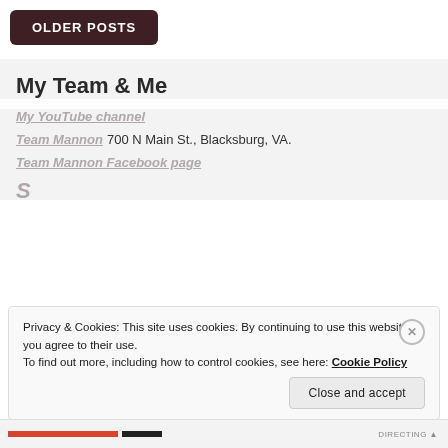OLDER POSTS
My Team & Me
My YouTube channel
Team Mannon 700 N Main St., Blacksburg, VA.
Team Mannon Facebook page
Privacy & Cookies: This site uses cookies. By continuing to use this website, you agree to their use.
To find out more, including how to control cookies, see here: Cookie Policy
Close and accept